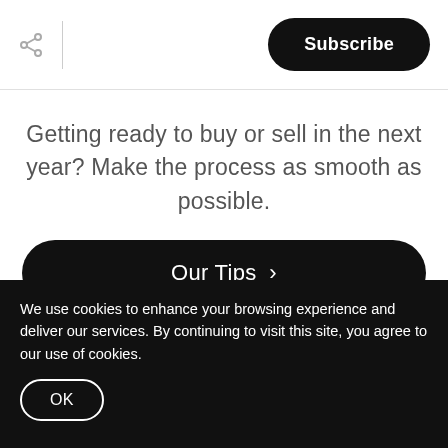Subscribe
Getting ready to buy or sell in the next year? Make the process as smooth as possible.
Our Tips >
Subscribe
We use cookies to enhance your browsing experience and deliver our services. By continuing to visit this site, you agree to our use of cookies.
OK